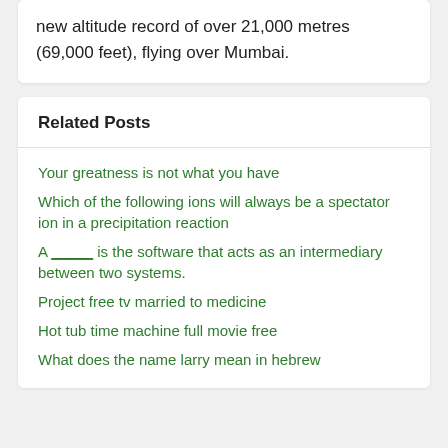new altitude record of over 21,000 metres (69,000 feet), flying over Mumbai.
Related Posts
Your greatness is not what you have
Which of the following ions will always be a spectator ion in a precipitation reaction
A _____ is the software that acts as an intermediary between two systems.
Project free tv married to medicine
Hot tub time machine full movie free
What does the name larry mean in hebrew